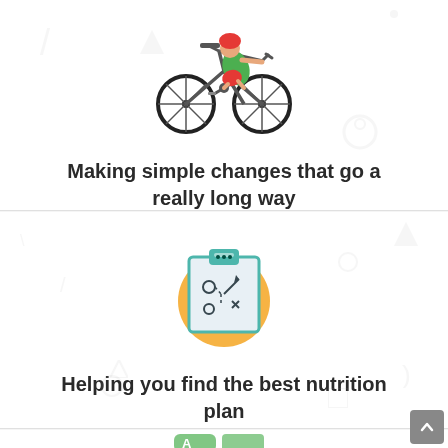[Figure (illustration): Cyclist icon: person wearing red helmet and green top riding a black bicycle]
Making simple changes that go a really long way
[Figure (illustration): Strategy clipboard icon on orange/yellow circular background: clipboard with game-play diagram showing arrows and X marks]
Helping you find the best nutrition plan
[Figure (illustration): Partially visible icons at bottom: appears to show alphabet/education related icons in green]